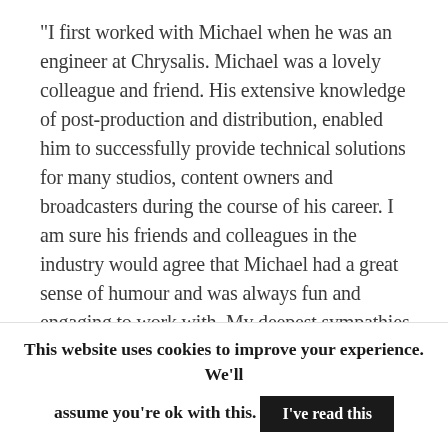“I first worked with Michael when he was an engineer at Chrysalis. Michael was a lovely colleague and friend. His extensive knowledge of post-production and distribution, enabled him to successfully provide technical solutions for many studios, content owners and broadcasters during the course of his career. I am sure his friends and colleagues in the industry would agree that Michael had a great sense of humour and was always fun and engaging to work with. My deepest sympathies go out to Michael’s family at this sorrowful time.”
This website uses cookies to improve your experience. We’ll assume you’re ok with this. I’ve read this